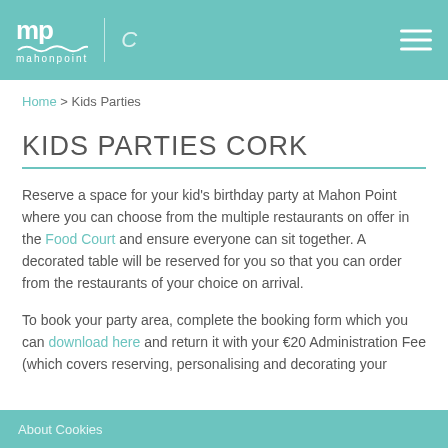mahonpoint | C [hamburger menu]
Home > Kids Parties
KIDS PARTIES CORK
Reserve a space for your kid's birthday party at Mahon Point where you can choose from the multiple restaurants on offer in the Food Court and ensure everyone can sit together. A decorated table will be reserved for you so that you can order from the restaurants of your choice on arrival.
To book your party area, complete the booking form which you can download here and return it with your €20 Administration Fee (which covers reserving, personalising and decorating your
About Cookies